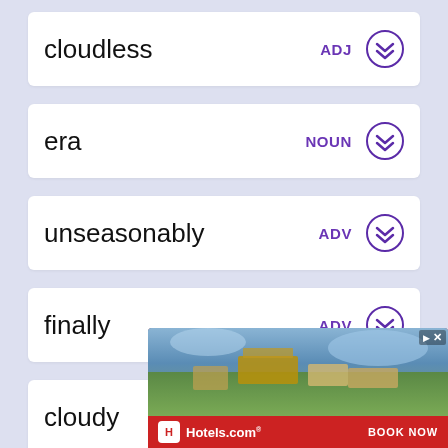cloudless   ADJ
era   NOUN
unseasonably   ADV
finally   ADV
cloudy   ADJ
saturday   NOUN
[Figure (screenshot): Hotels.com advertisement banner showing aerial photo of hotel resort with BOOK NOW button]